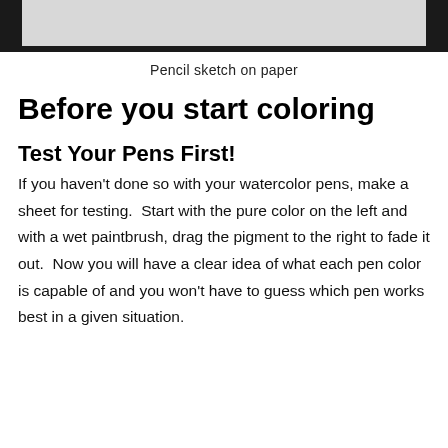[Figure (photo): Partial view of a pencil sketch on paper, shown at the top of the page with a dark frame/border.]
Pencil sketch on paper
Before you start coloring
Test Your Pens First!
If you haven't done so with your watercolor pens, make a sheet for testing.  Start with the pure color on the left and with a wet paintbrush, drag the pigment to the right to fade it out.  Now you will have a clear idea of what each pen color is capable of and you won't have to guess which pen works best in a given situation.